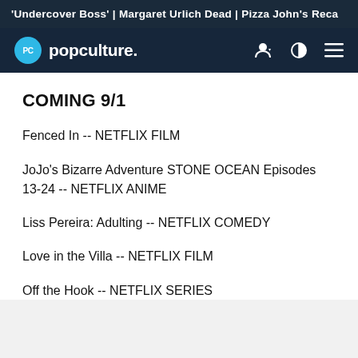'Undercover Boss' | Margaret Urlich Dead | Pizza John's Reca
popculture.
COMING 9/1
Fenced In -- NETFLIX FILM
JoJo's Bizarre Adventure STONE OCEAN Episodes 13-24 -- NETFLIX ANIME
Liss Pereira: Adulting -- NETFLIX COMEDY
Love in the Villa -- NETFLIX FILM
Off the Hook -- NETFLIX SERIES